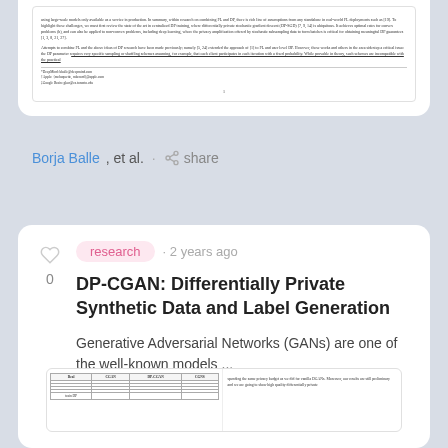[Figure (screenshot): Partial paper preview showing dense academic text with footnotes and page number]
Borja Balle, et al. · share
research · 2 years ago
DP-CGAN: Differentially Private Synthetic Data and Label Generation
Generative Adversarial Networks (GANs) are one of the well-known models ...
[Figure (screenshot): Partial paper preview showing a table comparing Real, CGAN, DP-CGAN, CGNS columns with accompanying text]